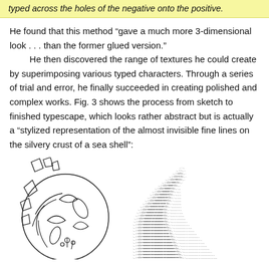typed across the holes of the negative onto the positive.
He found that this method “gave a much more 3-dimensional look . . . than the former glued version.”
        He then discovered the range of textures he could create by superimposing various typed characters. Through a series of trial and error, he finally succeeded in creating polished and complex works. Fig. 3 shows the process from sketch to finished typescape, which looks rather abstract but is actually a “stylized representation of the almost invisible fine lines on the silvery crust of a sea shell”:
[Figure (illustration): A line drawing sketch of a circular sea shell form with abstract organic shapes, leaf-like and crescent shapes inside a circle, with additional angular shapes at the top.]
[Figure (illustration): A typescape artwork made of typed characters forming an abstract representation of fine lines on the silvery crust of a sea shell, appearing as layered diagonal rows of small characters creating a textured wave-like form.]